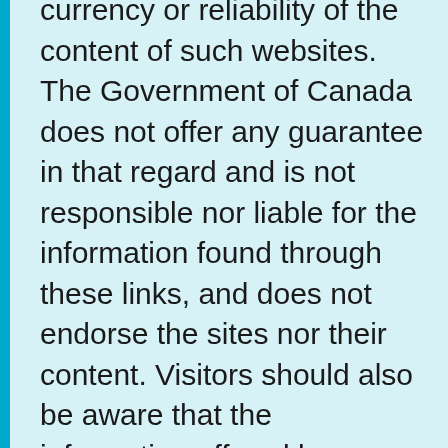currency or reliability of the content of such websites. The Government of Canada does not offer any guarantee in that regard and is not responsible nor liable for the information found through these links, and does not endorse the sites nor their content. Visitors should also be aware that the information offered by non-Government of Canada sites to which this website links is not subject to the Privacy Act or the